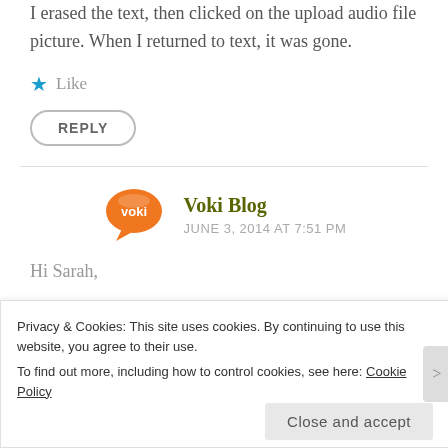I erased the text, then clicked on the upload audio file picture. When I returned to text, it was gone.
★ Like
REPLY
[Figure (logo): Voki speech bubble logo, orange with white 'voki' text]
Voki Blog
JUNE 3, 2014 AT 7:51 PM
Hi Sarah,
Privacy & Cookies: This site uses cookies. By continuing to use this website, you agree to their use.
To find out more, including how to control cookies, see here: Cookie Policy
Close and accept